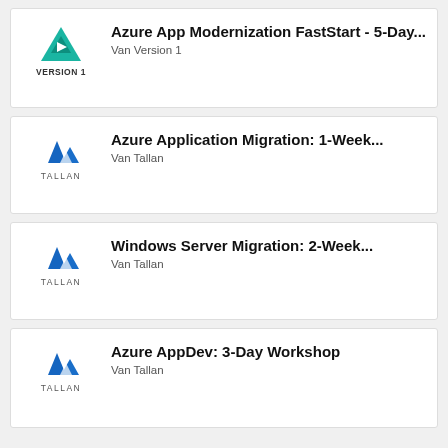[Figure (logo): Version 1 teal triangle logo with VERSION 1 label]
Azure App Modernization FastStart - 5-Day...
Van Version 1
[Figure (logo): Tallan blue mountain/triangle logo with TALLAN label]
Azure Application Migration: 1-Week...
Van Tallan
[Figure (logo): Tallan blue mountain/triangle logo with TALLAN label]
Windows Server Migration: 2-Week...
Van Tallan
[Figure (logo): Tallan blue mountain/triangle logo with TALLAN label]
Azure AppDev: 3-Day Workshop
Van Tallan